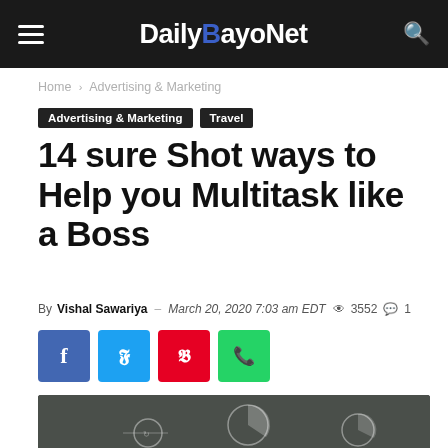DailybayoNet
Home › Advertising & Marketing
Advertising & Marketing
Travel
14 sure Shot ways to Help you Multitask like a Boss
By Vishal Sawariya – March 20, 2020 7:03 am EDT  3552  1
[Figure (screenshot): Social share buttons: Facebook (blue), Twitter (light blue), Pinterest (red), WhatsApp (green)]
[Figure (photo): A chalkboard with hand-drawn business diagrams and a person visible at the bottom center]